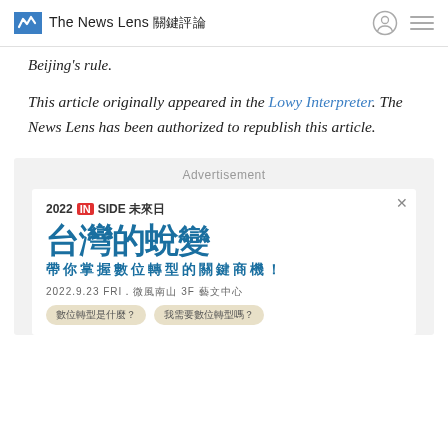The News Lens 關鍵評論
Beijing's rule.
This article originally appeared in the Lowy Interpreter. The News Lens has been authorized to republish this article.
[Figure (infographic): Advertisement banner for 2022 INSIDE 未來日 event featuring 台灣的蛻變 (Taiwan's Transformation) with subtitle 帶你掌握數位轉型的關鍵商機！, date 2022.9.23 FRI., venue 微風南山 3F藝文中心, and chat-bubble tags 數位轉型是什麼？ and 我需要數位轉型嗎？]